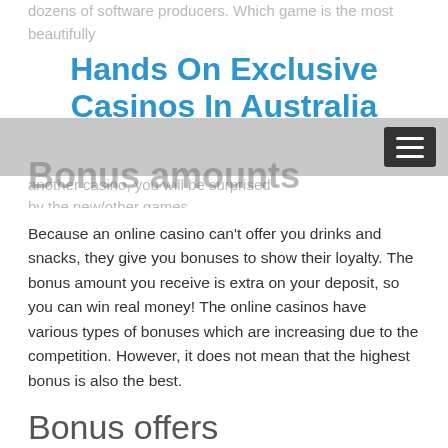dozens of software producers. Which game is the most beautifully you will find gambling ones that differ from each other in their back to us to play another casino, you will be surprised by the new/other games.
Hands On Exclusive Casinos In Australia
Bonus amounts
Because an online casino can't offer you drinks and snacks, they give you bonuses to show their loyalty. The bonus amount you receive is extra on your deposit, so you can win real money! The online casinos have various types of bonuses which are increasing due to the competition. However, it does not mean that the highest bonus is also the best.
Bonus offers
Novice casino players often look out for the bonus. It's of course attractive if an online casino gives